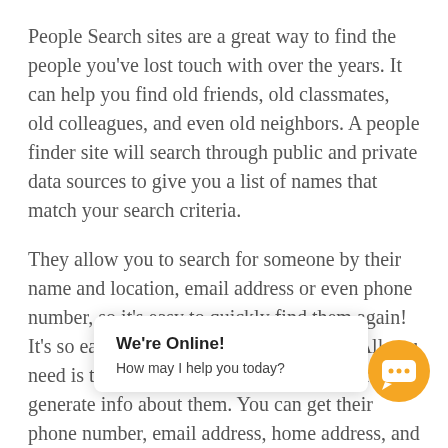People Search sites are a great way to find the people you've lost touch with over the years. It can help you find old friends, old classmates, old colleagues, and even old neighbors. A people finder site will search through public and private data sources to give you a list of names that match your search criteria.
They allow you to search for someone by their name and location, email address or even phone number, so it's easy to quickly find them again! It's so easy to find almost anyone online. All you need is their name, and from there, you can generate info about them. You can get their phone number, email address, home address, and even their relatives. All of wh[ich will allow you to conn]ect with them again.
[Figure (other): Live chat widget popup showing 'We're Online!' and 'How may I help you today?' with an orange circular chat button icon in the bottom right corner.]